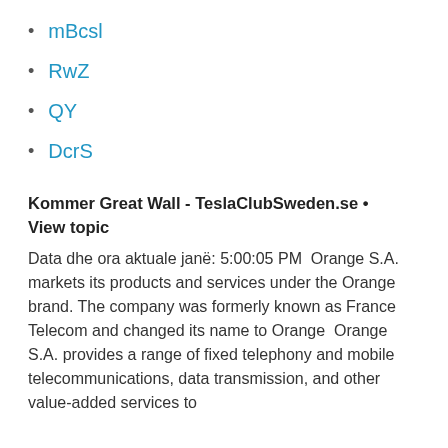mBcsl
RwZ
QY
DcrS
Kommer Great Wall - TeslaClubSweden.se • View topic
Data dhe ora aktuale janë: 5:00:05 PM  Orange S.A. markets its products and services under the Orange brand. The company was formerly known as France Telecom and changed its name to Orange  Orange S.A. provides a range of fixed telephony and mobile telecommunications, data transmission, and other value-added services to